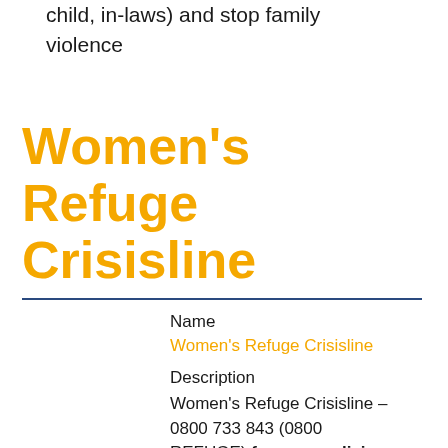child, in-laws) and stop family violence
Women's Refuge Crisisline
Name
Women's Refuge Crisisline
Description
Women's Refuge Crisisline – 0800 733 843 (0800 REFUGE) (for women living with violence, or in fear, in